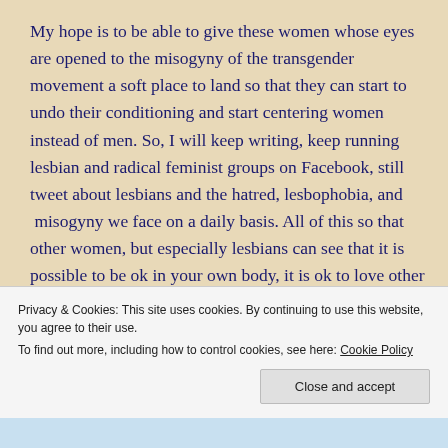My hope is to be able to give these women whose eyes are opened to the misogyny of the transgender movement a soft place to land so that they can start to undo their conditioning and start centering women instead of men. So, I will keep writing, keep running lesbian and radical feminist groups on Facebook, still tweet about lesbians and the hatred, lesbophobia, and  misogyny we face on a daily basis. All of this so that other women, but especially lesbians can see that it is possible to be ok in your own body, it is ok to love other women,
Privacy & Cookies: This site uses cookies. By continuing to use this website, you agree to their use.
To find out more, including how to control cookies, see here: Cookie Policy